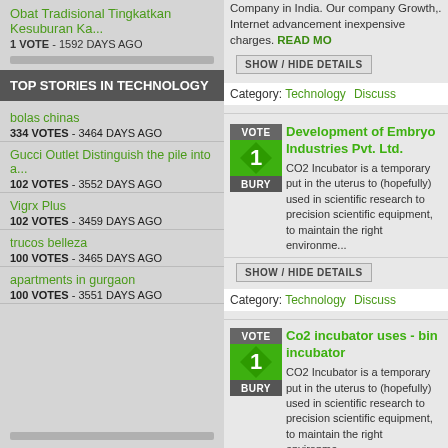Obat Tradisional Tingkatkan Kesuburan Ka... 1 VOTE - 1592 DAYS AGO
TOP STORIES IN TECHNOLOGY
bolas chinas 334 VOTES - 3464 DAYS AGO
Gucci Outlet Distinguish the pile into a... 102 VOTES - 3552 DAYS AGO
Vigrx Plus 102 VOTES - 3459 DAYS AGO
trucos belleza 100 VOTES - 3465 DAYS AGO
apartments in gurgaon 100 VOTES - 3551 DAYS AGO
Company in India. Our company Growth,. Internet advancement inexpensive charges. READ MORE
SHOW / HIDE DETAILS
Category: Technology Discuss
Development of Embryo Industries Pvt. Ltd.
CO2 Incubator is a temporary put in the uterus to (hopefully) used in scientific research to precision scientific equipment, to maintain the right environment
SHOW / HIDE DETAILS
Category: Technology Discuss
Co2 incubator uses - bin incubator
CO2 Incubator is a temporary put in the uterus to (hopefully) used in scientific research to precision scientific equipment, to maintain the right environment